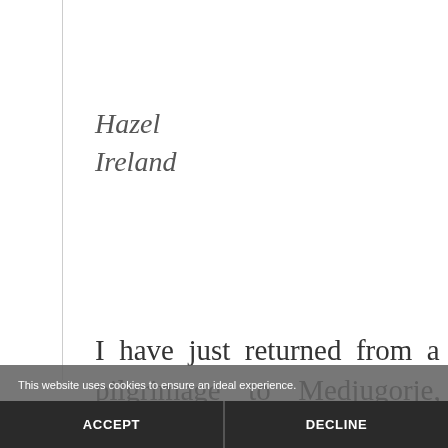Hazel
Ireland
I have just returned from a pilgrimage to Medjugorje, my first time there. I attended a talk and was also present at
This website uses cookies to ensure an ideal experience.
ACCEPT
DECLINE